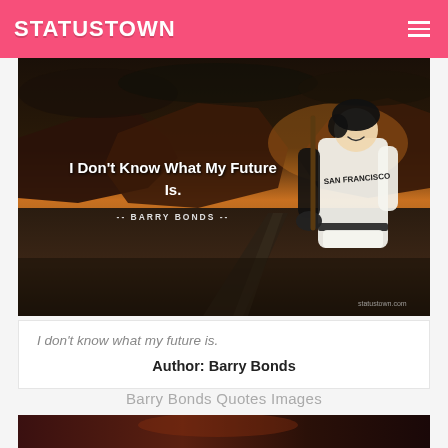STATUSTOWN
[Figure (photo): A dramatic landscape with red rock mesas, dark cloudy sky with orange glow, a winding road, and Barry Bonds in San Francisco Giants uniform holding a bat, overlaid with quote text: 'I Don't Know What My Future Is.' and attribution '-- BARRY BONDS --']
I don't know what my future is.
Author: Barry Bonds
Barry Bonds Quotes Images
[Figure (photo): Partial view of another quote image with dark reddish background, cropped]